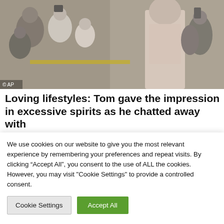[Figure (photo): Crowd of people at what appears to be an airport or public venue; a tall man in a light pink polo shirt is prominent on the right side, smiling; people around him are taking photos with cameras and phones; yellow barrier tape visible; AP watermark in bottom left]
Loving lifestyles: Tom gave the impression in excessive spirits as he chatted away with
We use cookies on our website to give you the most relevant experience by remembering your preferences and repeat visits. By clicking “Accept All”, you consent to the use of ALL the cookies. However, you may visit "Cookie Settings" to provide a controlled consent.